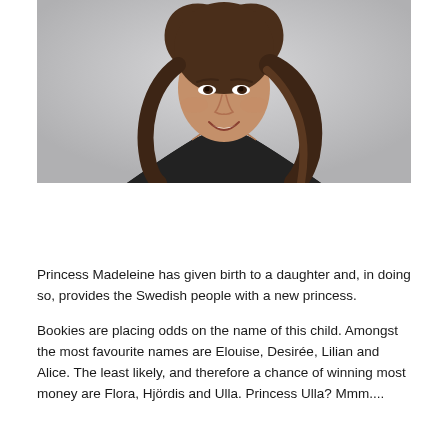[Figure (photo): Portrait photo of a smiling young woman with long brown wavy hair, wearing a black strapless top, photographed against a light grey background.]
Princess Madeleine has given birth to a daughter and, in doing so, provides the Swedish people with a new princess.
Bookies are placing odds on the name of this child. Amongst the most favourite names are Elouise, Desirée, Lilian and Alice. The least likely, and therefore a chance of winning most money are Flora, Hjördis and Ulla. Princess Ulla? Mmm....